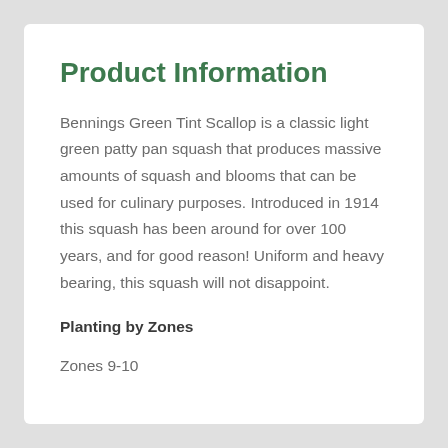Product Information
Bennings Green Tint Scallop is a classic light green patty pan squash that produces massive amounts of squash and blooms that can be used for culinary purposes. Introduced in 1914 this squash has been around for over 100 years, and for good reason! Uniform and heavy bearing, this squash will not disappoint.
Planting by Zones
Zones 9-10